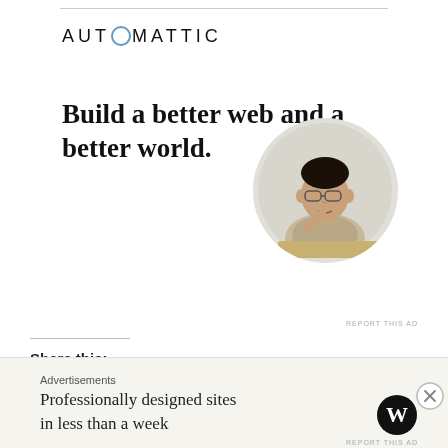[Figure (logo): Automattic company logo with stylized letter O replaced by a circle with blue border]
Build a better web and a better world.
[Figure (illustration): Circular cropped photo of a man wearing glasses sitting at a desk, looking up thoughtfully, resting his chin on his hand]
Apply
REPORT THIS AD
Share this:
Twitter
Facebook
Email
Pinterest
More
Advertisements
Professionally designed sites in less than a week
REPORT THIS AD